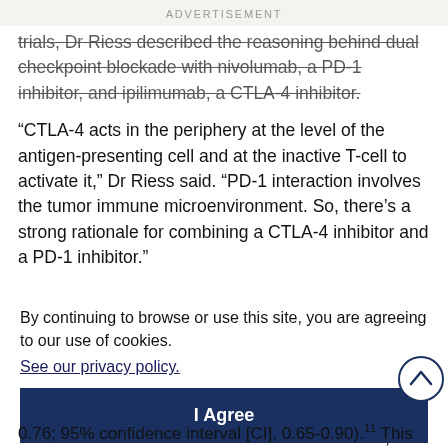ADVERTISEMENT
trials, Dr Riess described the reasoning behind dual checkpoint blockade with nivolumab, a PD-1 inhibitor, and ipilimumab, a CTLA-4 inhibitor.
“CTLA-4 acts in the periphery at the level of the antigen-presenting cell and at the inactive T-cell to activate it,” Dr Riess said. “PD-1 interaction involves the tumor immune microenvironment. So, there’s a strong rationale for combining a CTLA-4 inhibitor and a PD-1 inhibitor.”
By continuing to browse or use this site, you are agreeing to our use of cookies.
See our privacy policy.
I Agree
that s
.1 At a
+
al
; fo
R
0.76; 95% confidence interval [CI], 0.65-0.90).11 This